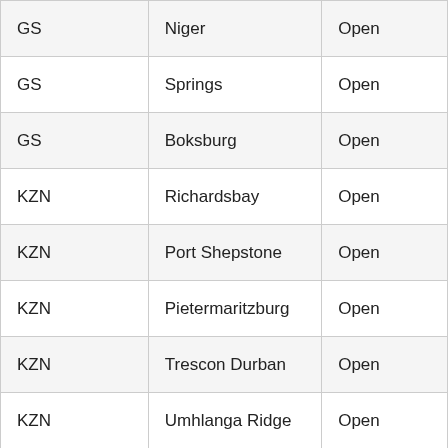| GS | Niger | Open |
| GS | Springs | Open |
| GS | Boksburg | Open |
| KZN | Richardsbay | Open |
| KZN | Port Shepstone | Open |
| KZN | Pietermaritzburg | Open |
| KZN | Trescon Durban | Open |
| KZN | Umhlanga Ridge | Open |
| KZN | New Castle | Open |